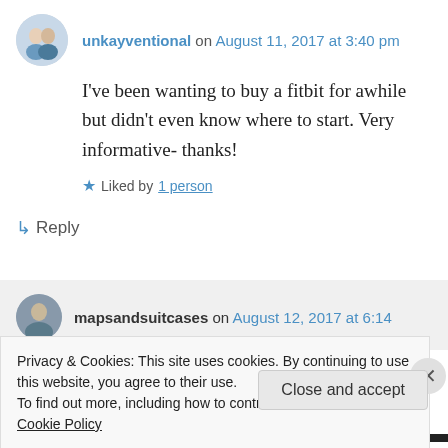unkayventional on August 11, 2017 at 3:40 pm
I've been wanting to buy a fitbit for awhile but didn't even know where to start. Very informative- thanks!
Liked by 1 person
↳ Reply
mapsandsuitcases on August 12, 2017 at 6:14
Privacy & Cookies: This site uses cookies. By continuing to use this website, you agree to their use.
To find out more, including how to control cookies, see here: Cookie Policy
Close and accept